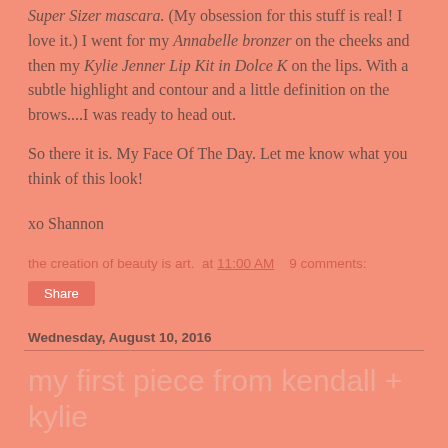Super Sizer mascara. (My obsession for this stuff is real! I love it.) I went for my Annabelle bronzer on the cheeks and then my Kylie Jenner Lip Kit in Dolce K on the lips. With a subtle highlight and contour and a little definition on the brows....I was ready to head out.
So there it is. My Face Of The Day. Let me know what you think of this look!
xo Shannon
the creation of beauty is art. at 11:00 AM   9 comments:
Share
Wednesday, August 10, 2016
my first piece from kendall + kylie
[Figure (photo): Photo partially visible at bottom of page showing a pinkish-red background with what appears to be a makeup brush or item with a dark handle]